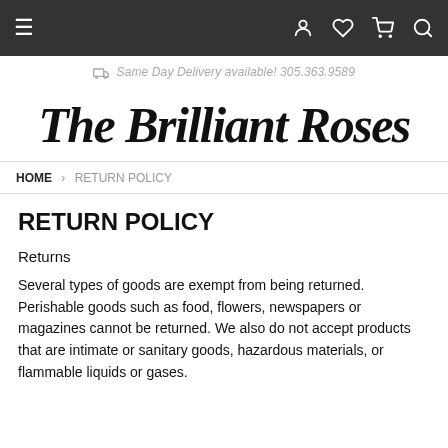≡  (user icon) (heart icon) (cart icon) (search icon)
Same Day Delivery available! 305.363.9589
[Figure (logo): The Brilliant Roses logo in large italic serif script font]
HOME > RETURN POLICY
RETURN POLICY
Returns
Several types of goods are exempt from being returned. Perishable goods such as food, flowers, newspapers or magazines cannot be returned. We also do not accept products that are intimate or sanitary goods, hazardous materials, or flammable liquids or gases.